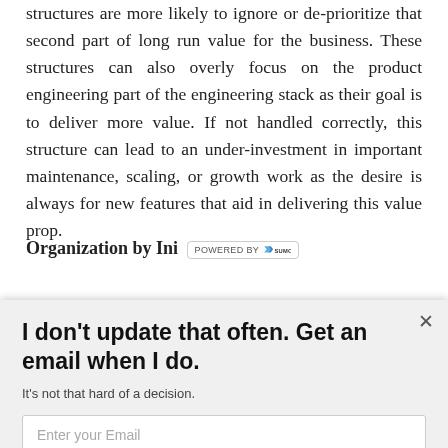structures are more likely to ignore or de-prioritize that second part of long run value for the business. These structures can also overly focus on the product engineering part of the engineering stack as their goal is to deliver more value. If not handled correctly, this structure can lead to an under-investment in important maintenance, scaling, or growth work as the desire is always for new features that aid in delivering this value prop.
Organization by Ini [POWERED BY SUMO]
[Figure (screenshot): Email subscription popup overlay with title 'I don't update that often. Get an email when I do.', subtitle 'It's not that hard of a decision.', an email input field, and a 'Subscribe Now' button. A close (x) button is in the top right corner.]